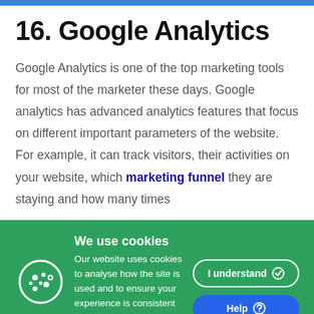16. Google Analytics
Google Analytics is one of the top marketing tools for most of the marketer these days. Google analytics has advanced analytics features that focus on different important parameters of the website. For example, it can track visitors, their activities on your website, which marketing funnel they are staying and how many times
[Figure (infographic): Cookie consent banner with green background showing a cookie icon on the left, 'We use cookies' heading, description text about cookie usage, 'Learn more »' link, and two buttons: 'I understand' (outlined) and 'Help' (blue filled).]